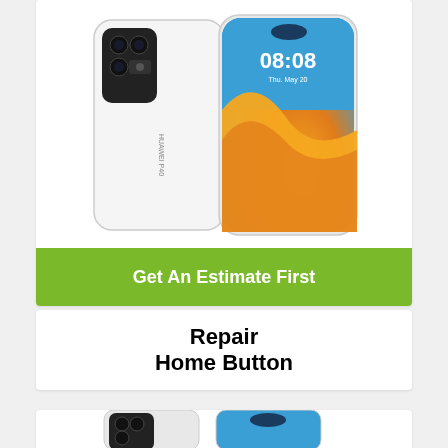[Figure (photo): Huawei P40 Pro smartphone shown from the back (white) and front (showing 08:08 time on screen), side-by-side view]
Get An Estimate First
Repair
Home Button
[Figure (photo): Huawei P40 Pro smartphone partial view from bottom, showing back and front of a blue variant]